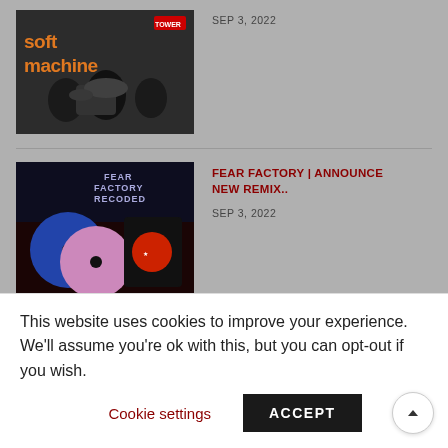[Figure (photo): Soft Machine album/promo image with orange text 'soft machine' over black and white band photo]
SEP 3, 2022
[Figure (photo): Fear Factory Recoded announcement image showing colored vinyl records, t-shirt and merchandise, text 'OUT OCTOBER 28TH']
FEAR FACTORY | ANNOUNCE NEW REMIX..
SEP 3, 2022
GOTHMINISTER RELEASES NEW SINGLE & VIDEO..
This website uses cookies to improve your experience. We'll assume you're ok with this, but you can opt-out if you wish.
Cookie settings
ACCEPT